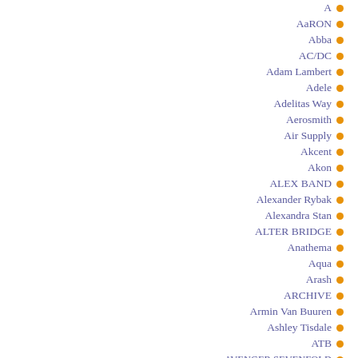A
AaRON
Abba
AC/DC
Adam Lambert
Adele
Adelitas Way
Aerosmith
Air Supply
Akcent
Akon
ALEX BAND
Alexander Rybak
Alexandra Stan
ALTER BRIDGE
Anathema
Aqua
Arash
ARCHIVE
Armin Van Buuren
Ashley Tisdale
ATB
AVENGER SEVENFOLD